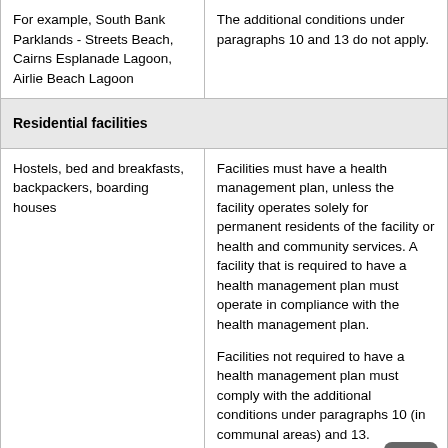| Facility type | Requirements |
| --- | --- |
| For example, South Bank Parklands - Streets Beach, Cairns Esplanade Lagoon, Airlie Beach Lagoon | The additional conditions under paragraphs 10 and 13 do not apply. |
| Residential facilities |  |
| Hostels, bed and breakfasts, backpackers, boarding houses | Facilities must have a health management plan, unless the facility operates solely for permanent residents of the facility or health and community services. A facility that is required to have a health management plan must operate in compliance with the health management plan.

Facilities not required to have a health management plan must comply with the additional conditions under paragraphs 10 (in communal areas) and 13.

Example – Aboriginal hostels and boarding homes for people living |